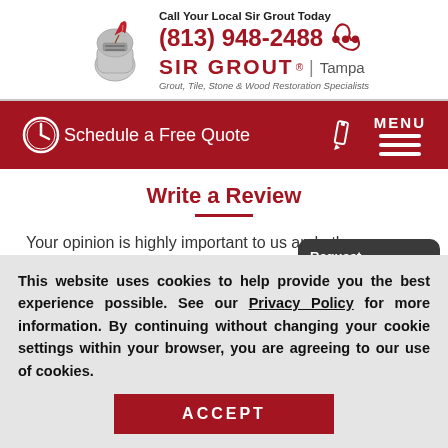[Figure (logo): Sir Grout Tampa logo with knight helmet and feather quill, red brand name, phone number, and tagline]
[Figure (infographic): Red navigation bar with clock icon, Schedule a Free Quote text, pencil icon, and MENU with hamburger lines]
Write a Review
Your opinion is highly important to us and other potential customers. Take a moment to rate your expe...
This website uses cookies to help provide you the best experience possible. See our Privacy Policy for more information. By continuing without changing your cookie settings within your browser, you are agreeing to our use of cookies.